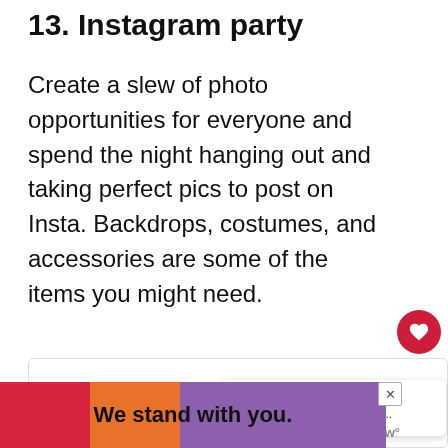13. Instagram party
Create a slew of photo opportunities for everyone and spend the night hanging out and taking perfect pics to post on Insta. Backdrops, costumes, and accessories are some of the items you might need.
[Figure (screenshot): Partial view of a website or app logo/image in a bordered box, with colorful text partially visible]
[Figure (infographic): WHAT'S NEXT panel showing The Ultimate College... with a thumbnail image]
[Figure (infographic): Advertisement banner: We stand with you. on colored background blocks (red, orange, purple) with close button X and a logo icon]